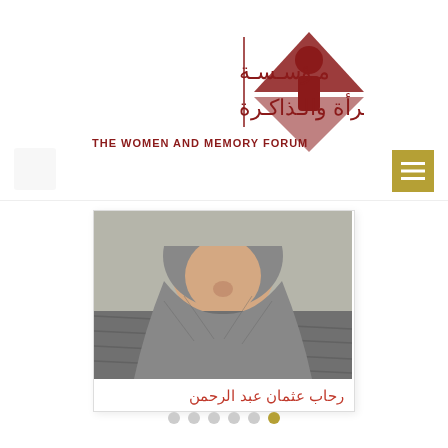[Figure (logo): The Women and Memory Forum logo with Arabic text and stylized hourglass/woman figure graphic in dark red]
[Figure (photo): Portrait photo of a woman wearing a patterned hijab, face visible from nose up cropped]
رحاب عثمان عبد الرحمن